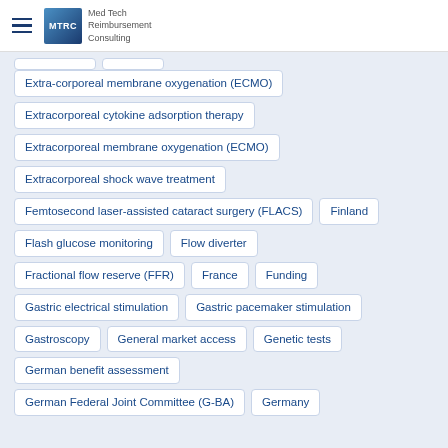Med Tech Reimbursement Consulting
Extra-corporeal membrane oxygenation (ECMO)
Extracorporeal cytokine adsorption therapy
Extracorporeal membrane oxygenation (ECMO)
Extracorporeal shock wave treatment
Femtosecond laser-assisted cataract surgery (FLACS)
Finland
Flash glucose monitoring
Flow diverter
Fractional flow reserve (FFR)
France
Funding
Gastric electrical stimulation
Gastric pacemaker stimulation
Gastroscopy
General market access
Genetic tests
German benefit assessment
German Federal Joint Committee (G-BA)
Germany